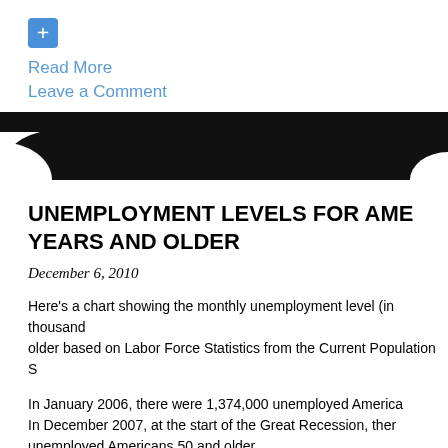[Figure (other): Blue plus/add button icon]
Read More
Leave a Comment
[Figure (other): Black decorative banner/divider with curved edges on white background]
UNEMPLOYMENT LEVELS FOR AMERICANS 50 YEARS AND OLDER
December 6, 2010
Here's a chart showing the monthly unemployment level (in thousands) for Americans 50 and older based on Labor Force Statistics from the Current Population Survey.
In January 2006, there were 1,374,000 unemployed Americans 50 and older. In December 2007, at the start of the Great Recession, there were 1,564,000 unemployed Americans 50 and older. In November 2010, there were 3,475,000 unemployed Americans 50 and older. The unemployment level among Americans 50 years and older has increased approximately two and a half times since the start of the Great Recession.